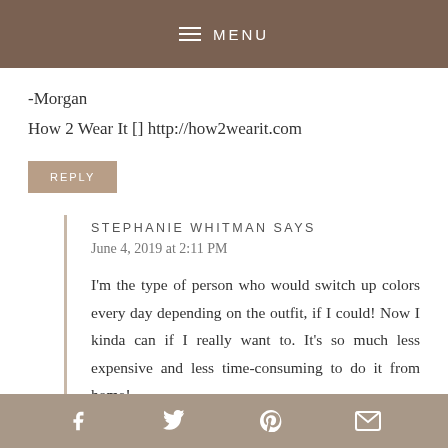MENU
-Morgan
How 2 Wear It [] http://how2wearit.com
REPLY
STEPHANIE WHITMAN SAYS
June 4, 2019 at 2:11 PM
I'm the type of person who would switch up colors every day depending on the outfit, if I could! Now I kinda can if I really want to. It's so much less expensive and less time-consuming to do it from home!
f  Twitter  p  mail